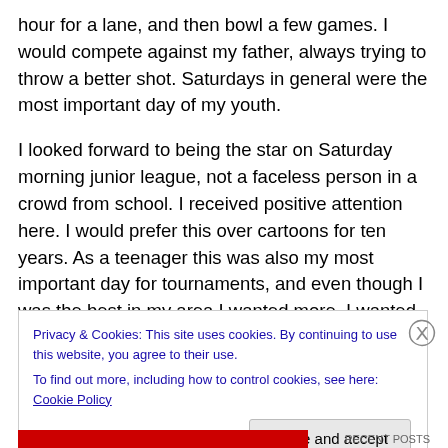hour for a lane, and then bowl a few games. I would compete against my father, always trying to throw a better shot. Saturdays in general were the most important day of my youth.
I looked forward to being the star on Saturday morning junior league, not a faceless person in a crowd from school. I received positive attention here. I would prefer this over cartoons for ten years. As a teenager this was also my most important day for tournaments, and even though I was the best in my area I wanted more. I wanted
Privacy & Cookies: This site uses cookies. By continuing to use this website, you agree to their use.
To find out more, including how to control cookies, see here: Cookie Policy